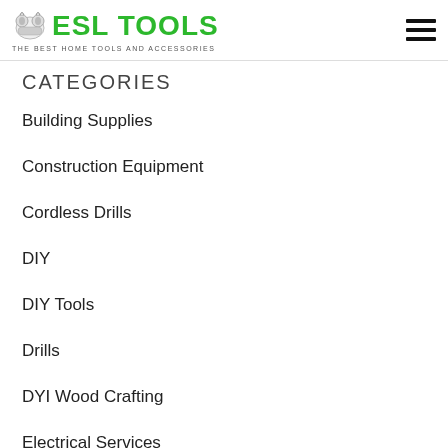ESL TOOLS — THE BEST HOME TOOLS AND ACCESSORIES
CATEGORIES
Building Supplies
Construction Equipment
Cordless Drills
DIY
DIY Tools
Drills
DYI Wood Crafting
Electrical Services